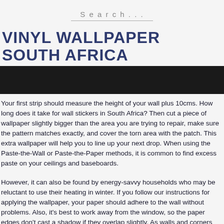Search...
VINYL WALLPAPER SOUTH AFRICA
[Figure (other): Dark banner/image block beneath the title]
Your first strip should measure the height of your wall plus 10cms. How long does it take for wall stickers in South Africa? Then cut a piece of wallpaper slightly bigger than the area you are trying to repair, make sure the pattern matches exactly, and cover the torn area with the patch. This extra wallpaper will help you to line up your next drop. When using the Paste-the-Wall or Paste-the-Paper methods, it is common to find excess paste on your ceilings and baseboards.
However, it can also be found by energy-savvy households who may be reluctant to use their heating in winter. If you follow our instructions for applying the wallpaper, your paper should adhere to the wall without problems. Also, it's best to work away from the window, so the paper edges don't cast a shadow if they overlap slightly. As walls and corners aren't often straight, don't rely on them as a guide when you hang...